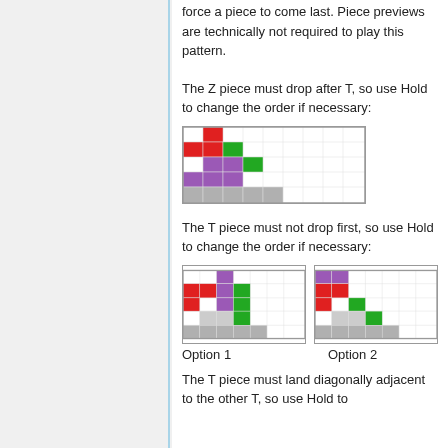force a piece to come last. Piece previews are technically not required to play this pattern.
The Z piece must drop after T, so use Hold to change the order if necessary:
[Figure (illustration): Tetris grid showing Z and T piece placement, first option]
The T piece must not drop first, so use Hold to change the order if necessary:
[Figure (illustration): Two tetris grids side by side showing T piece hold options, Option 1 and Option 2]
Option 1    Option 2
The T piece must land diagonally adjacent to the other T, so use Hold to